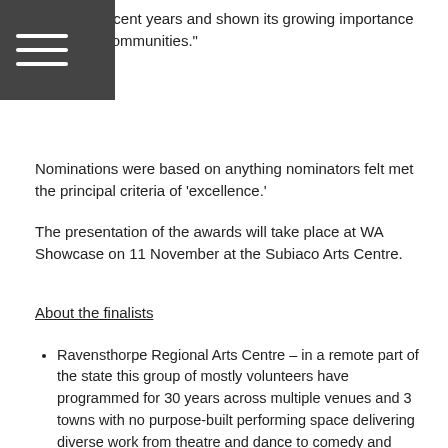means in recent years and shown its growing importance to thriving communities."
Nominations were based on anything nominators felt met the principal criteria of 'excellence.'
The presentation of the awards will take place at WA Showcase on 11 November at the Subiaco Arts Centre.
About the finalists
Ravensthorpe Regional Arts Centre – in a remote part of the state this group of mostly volunteers have programmed for 30 years across multiple venues and 3 towns with no purpose-built performing space delivering diverse work from theatre and dance to comedy and circus.
Harvey Recreation and Cultural Centre – a multi-purpose venue that might see basketball, senior's fitness, childcare and theatre all in the same venue on the same day. Harvey has transformed its program, transformed its performances and cemented a